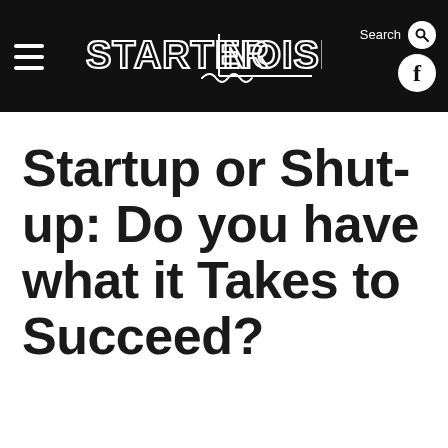STARTERNOISE — Navigation header with hamburger menu, logo, search, and Facebook icon
Startup or Shut-up: Do you have what it Takes to Succeed?